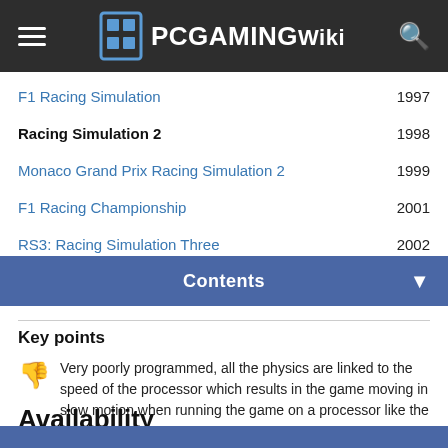PCGamingWiki
F1 Racing Simulation 1997
Racing Simulation 2 1998
Monaco Grand Prix Racing Simulation 2 1999
F1 Racing Championship 2001
RS3: Racing Simulation Three 2002
Contents
Key points
Very poorly programmed, all the physics are linked to the speed of the processor which results in the game moving in slow motion when running the game on a processor like the Pentium 4
Availability